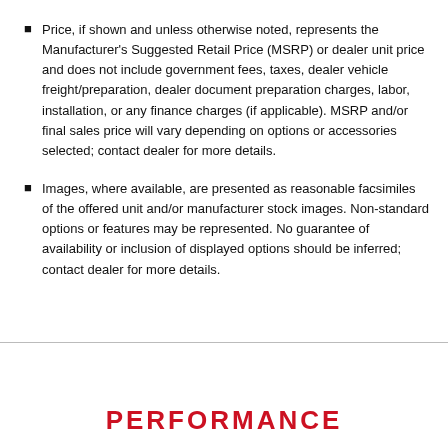Price, if shown and unless otherwise noted, represents the Manufacturer's Suggested Retail Price (MSRP) or dealer unit price and does not include government fees, taxes, dealer vehicle freight/preparation, dealer document preparation charges, labor, installation, or any finance charges (if applicable). MSRP and/or final sales price will vary depending on options or accessories selected; contact dealer for more details.
Images, where available, are presented as reasonable facsimiles of the offered unit and/or manufacturer stock images. Non-standard options or features may be represented. No guarantee of availability or inclusion of displayed options should be inferred; contact dealer for more details.
PERFORMANCE